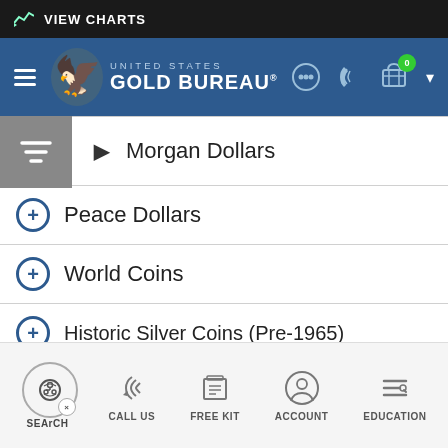VIEW CHARTS
[Figure (screenshot): United States Gold Bureau navigation header with logo, hamburger menu, chat, phone, and cart icons]
Morgan Dollars
Peace Dollars
World Coins
Historic Silver Coins (Pre-1965)
Silver Bars
The Potential of Silver
SEARCH  CALL US  FREE KIT  ACCOUNT  EDUCATION